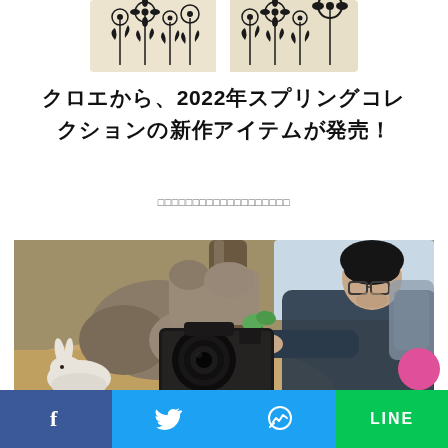[Figure (photo): Top portion of decorative cushion/pillow with floral embroidery pattern in black on cream fabric]
クロエから、2022年スプリングコレクションの新作アイテムが発売！
□□□□□□□□□□□□□□□□□□□
[Figure (photo): Photographer crouching down with a DSLR camera (Canon) to photograph a white rabbit on sandy ground, with rocks and a tree trunk in background]
f  (Twitter bird icon)  (Messenger icon)  LINE